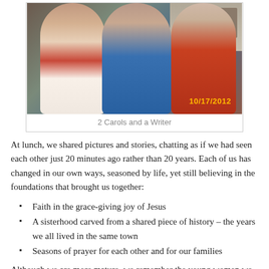[Figure (photo): Three women standing together smiling indoors, date stamp 10/17/2012]
2 Carols and a Writer
At lunch, we shared pictures and stories, chatting as if we had seen each other just 20 minutes ago rather than 20 years. Each of us has changed in our own ways, seasoned by life, yet still believing in the foundations that brought us together:
Faith in the grace-giving joy of Jesus
A sisterhood carved from a shared piece of history – the years we all lived in the same town
Seasons of prayer for each other and for our families
Although we are more mature, we remember the young women we were and the lessons we learned. Now, we